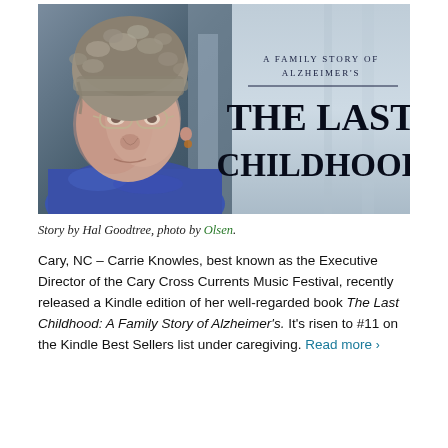[Figure (photo): Book cover for 'The Last Childhood: A Family Story of Alzheimer's' showing an elderly woman wearing a fur hat and blue scarf with glasses, alongside the book title text on a grey-blue background.]
Story by Hal Goodtree, photo by Olsen.
Cary, NC – Carrie Knowles, best known as the Executive Director of the Cary Cross Currents Music Festival, recently released a Kindle edition of her well-regarded book The Last Childhood: A Family Story of Alzheimer's. It's risen to #11 on the Kindle Best Sellers list under caregiving. Read more ›